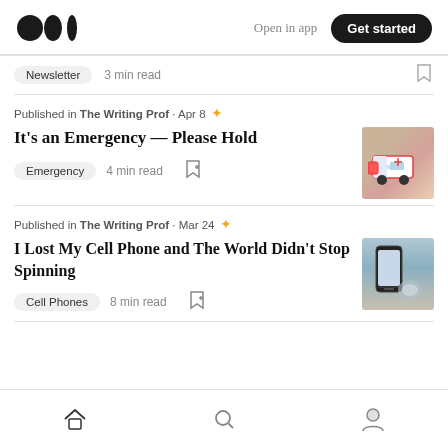Medium logo | Open in app | Get started
Newsletter  3 min read
Published in The Writing Prof · Apr 8 ★
It's an Emergency — Please Hold
Emergency  4 min read
[Figure (photo): Toy ambulance on a wooden surface]
Published in The Writing Prof · Mar 24 ★
I Lost My Cell Phone and The World Didn't Stop Spinning
Cell Phones  8 min read
[Figure (photo): Hand holding a cell phone at the beach]
Home | Search | Profile